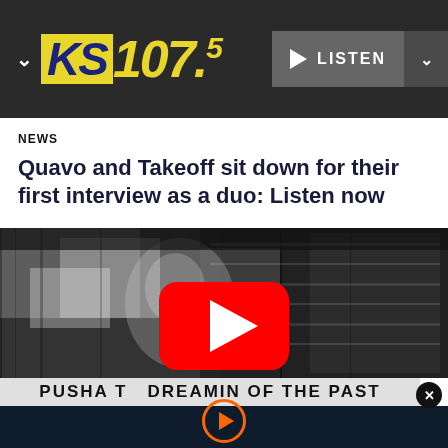[Figure (screenshot): KS 107.5 radio station logo with yellow KS text on blue background and yellow 107.5 text]
[Figure (screenshot): LISTEN button with white play icon and dropdown arrow on dark gray background]
NEWS
Quavo and Takeoff sit down for their first interview as a duo: Listen now
[Figure (screenshot): Black and white YouTube video thumbnail showing two figures with a red YouTube play button overlay]
PUSHA T Dreamin of the Past
[Figure (other): Orange circular play button on dark navy background]